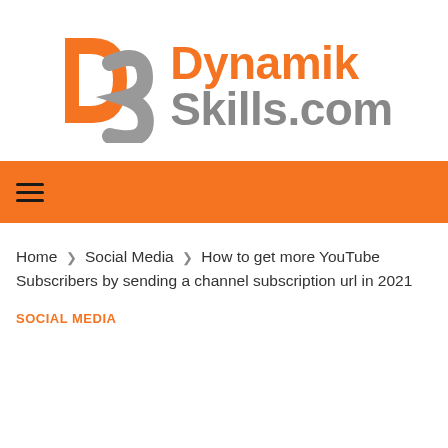[Figure (logo): Dynamik Skills.com logo — orange and grey interlocking DS letters with orange 'Dynamik' and grey 'Skills.com' text]
≡
Home  ❯  Social Media  ❯  How to get more YouTube Subscribers by sending a channel subscription url in 2021
SOCIAL MEDIA